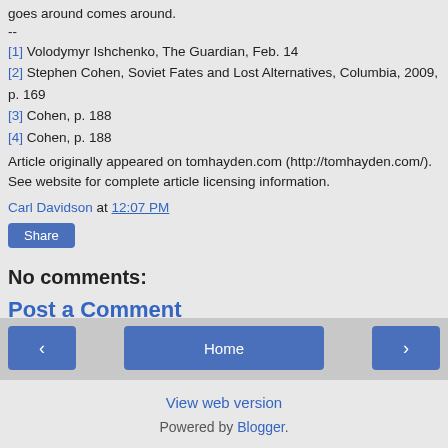goes around comes around.
--
[1] Volodymyr Ishchenko, The Guardian, Feb. 14
[2] Stephen Cohen, Soviet Fates and Lost Alternatives, Columbia, 2009, p. 169
[3] Cohen, p. 188
[4] Cohen, p. 188
Article originally appeared on tomhayden.com (http://tomhayden.com/).
See website for complete article licensing information.
Carl Davidson at 12:07 PM
Share
No comments:
Post a Comment
< Home > View web version Powered by Blogger.